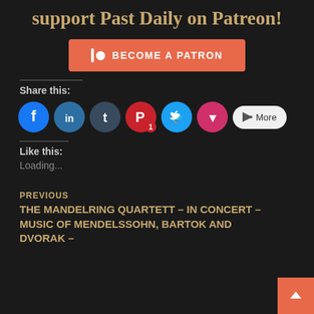support Past Daily on Patreon!
[Figure (other): Patreon 'Become a Patron' button in coral/red-orange color]
Share this:
[Figure (other): Social sharing icons: Facebook, LinkedIn, Tumblr, Pinterest (with badge 1), Twitter, Pocket, and More button]
Like this:
Loading...
PREVIOUS
THE MANDELRING QUARTETT – IN CONCERT – MUSIC OF MENDELSSOHN, BARTOK AND DVORAK –